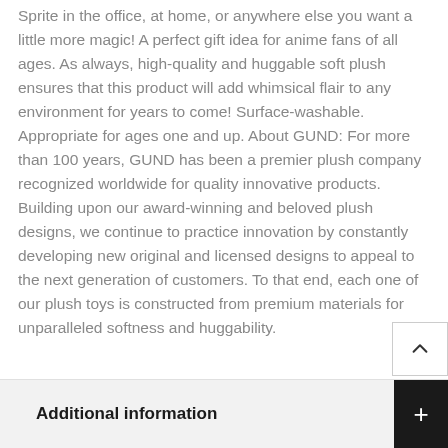Sprite in the office, at home, or anywhere else you want a little more magic! A perfect gift idea for anime fans of all ages. As always, high-quality and huggable soft plush ensures that this product will add whimsical flair to any environment for years to come! Surface-washable. Appropriate for ages one and up. About GUND: For more than 100 years, GUND has been a premier plush company recognized worldwide for quality innovative products. Building upon our award-winning and beloved plush designs, we continue to practice innovation by constantly developing new original and licensed designs to appeal to the next generation of customers. To that end, each one of our plush toys is constructed from premium materials for unparalleled softness and huggability.
Additional information